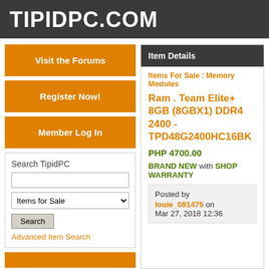TIPIDPC.COM
Visit the Forums
Register Now!
Member Log In
Search TipidPC
Items for Sale
Search
Advanced Item Search
Item Details
Items For Sale : Memory Modules
Ram . Team Elite+ 8GB (8GBX1) DDR4 2400 - TPD48G2400HC16BK
PHP 4700.00
BRAND NEW with SHOP WARRANTY
Posted by louie_081475 on Mar 27, 2018 12:36